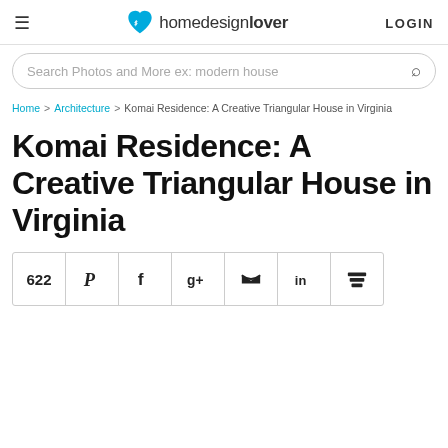homedesignlover LOGIN
Search Photos and More ex: modern house
Home > Architecture > Komai Residence: A Creative Triangular House in Virginia
Komai Residence: A Creative Triangular House in Virginia
[Figure (other): Social share bar with count 622 and icons for Pinterest, Facebook, Google+, Twitter, LinkedIn, Buffer]